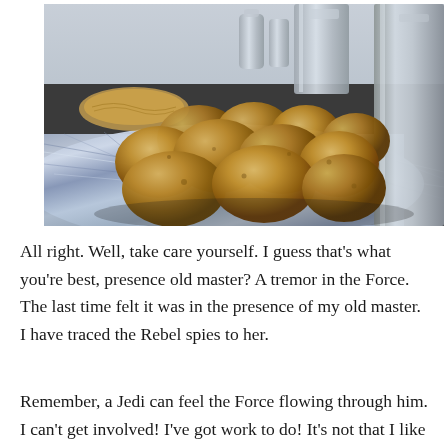[Figure (photo): Photograph of a pile of raw golden potatoes resting on a blue and white checkered cloth/towel on a kitchen counter, with kitchen containers and a woven tray visible in the background.]
All right. Well, take care yourself. I guess that's what you're best, presence old master? A tremor in the Force. The last time felt it was in the presence of my old master. I have traced the Rebel spies to her.
Remember, a Jedi can feel the Force flowing through him. I can't get involved! I've got work to do! It's not that I like the